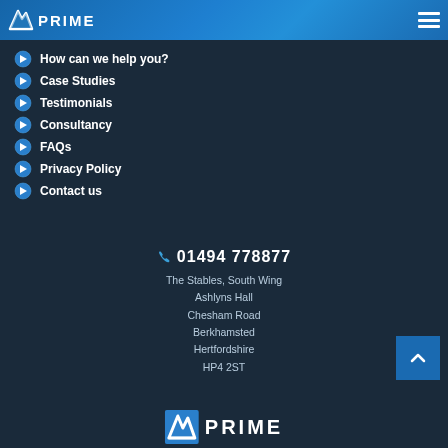PRIME logo and navigation menu
How can we help you?
Case Studies
Testimonials
Consultancy
FAQs
Privacy Policy
Contact us
01494 778877
The Stables, South Wing
Ashlyns Hall
Chesham Road
Berkhamsted
Hertfordshire
HP4 2ST
PRIME logo footer